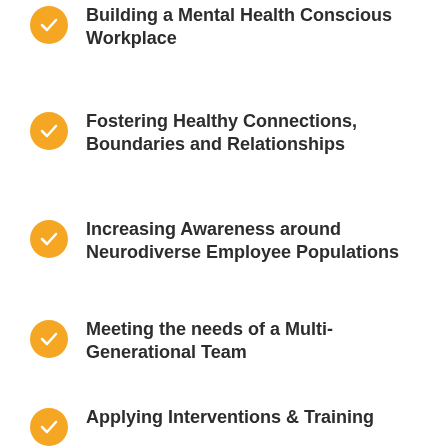Building a Mental Health Conscious Workplace
Fostering Healthy Connections, Boundaries and Relationships
Increasing Awareness around Neurodiverse Employee Populations
Meeting the needs of a Multi-Generational Team
Applying Interventions & Training